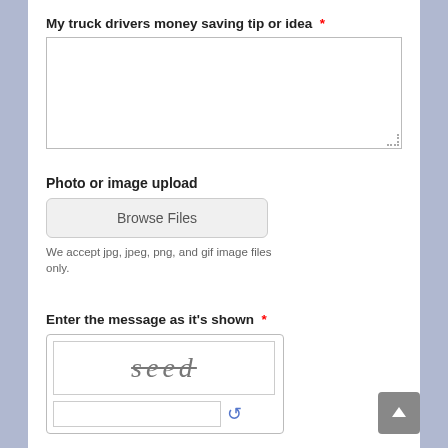My truck drivers money saving tip or idea *
[Figure (screenshot): Empty textarea input box with resize handle]
Photo or image upload
[Figure (screenshot): Browse Files button - a rounded rectangle button with label 'Browse Files']
We accept jpg, jpeg, png, and gif image files only.
Enter the message as it's shown *
[Figure (screenshot): CAPTCHA widget showing the word 'seed' with strikethrough styling, and a text input field below with a refresh icon]